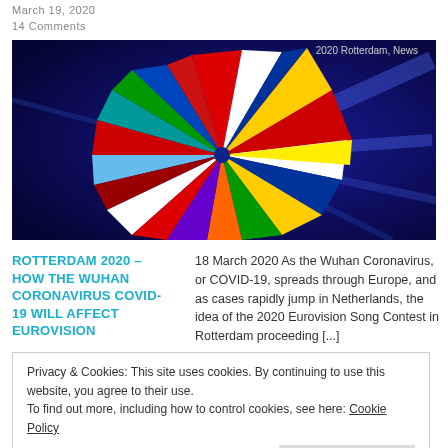March 19, 2020
14 Comments
[Figure (illustration): Eurovision Song Contest Rotterdam 2020 hero image: dark blue background with colorful fan/pinwheel of European country flags, text '2020 Rotterdam, News' in top right corner]
ROTTERDAM 2020 – HOW THE WUHAN CORONAVIRUS COVID-19 WILL AFFECT EUROVISION
18 March 2020 As the Wuhan Coronavirus, or COVID-19, spreads through Europe, and as cases rapidly jump in Netherlands, the idea of the 2020 Eurovision Song Contest in Rotterdam proceeding [...]
Privacy & Cookies: This site uses cookies. By continuing to use this website, you agree to their use.
To find out more, including how to control cookies, see here: Cookie Policy
Close and accept